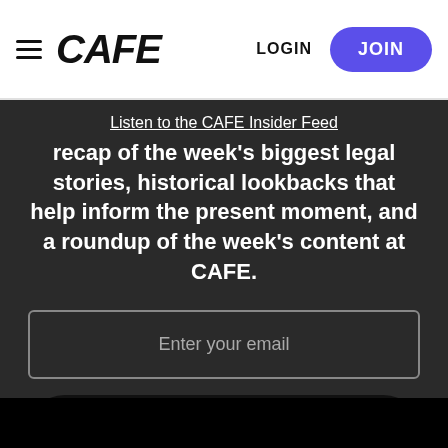CAFE | LOGIN | JOIN
Listen to the CAFE Insider Feed
recap of the week's biggest legal stories, historical lookbacks that help inform the present moment, and a roundup of the week's content at CAFE.
Enter your email
SUBSCRIBE